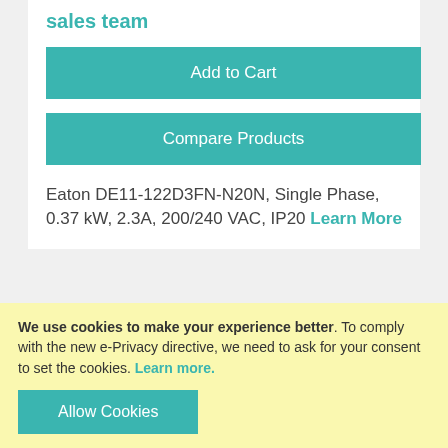sales team
Add to Cart
Compare Products
Eaton DE11-122D3FN-N20N, Single Phase, 0.37 kW, 2.3A, 200/240 VAC, IP20 Learn More
Eaton DX-COM-STICK2 BT Communication Stick
Nett Price Inc. VAT: £134.48
Nett Price Exc. VAT: £112.07
We use cookies to make your experience better. To comply with the new e-Privacy directive, we need to ask for your consent to set the cookies. Learn more.
Allow Cookies